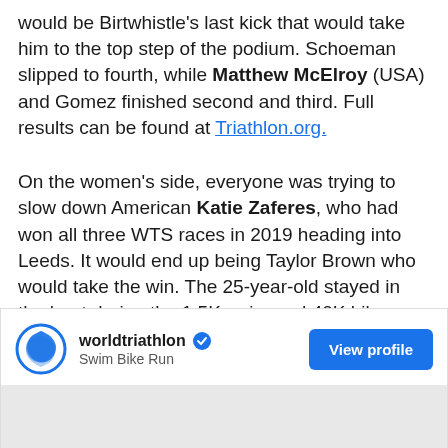would be Birtwhistle's last kick that would take him to the top step of the podium. Schoeman slipped to fourth, while Matthew McElroy (USA) and Gomez finished second and third. Full results can be found at Triathlon.org.
On the women's side, everyone was trying to slow down American Katie Zaferes, who had won all three WTS races in 2019 heading into Leeds. It would end up being Taylor Brown who would take the win. The 25-year-old stayed in the hunt during the 1.5K swim and 40K bike, before making her move in the 10K run.
[Figure (screenshot): World Triathlon social media card with logo, account name 'worldtriathlon', verified checkmark, subtitle 'Swim Bike Run', and a blue 'View profile' button. Below is a grey image placeholder area.]